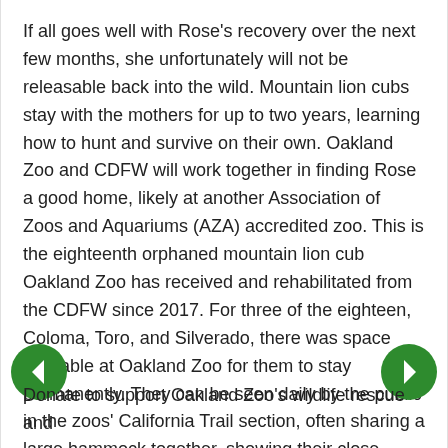If all goes well with Rose's recovery over the next few months, she unfortunately will not be releasable back into the wild. Mountain lion cubs stay with the mothers for up to two years, learning how to hunt and survive on their own. Oakland Zoo and CDFW will work together in finding Rose a good home, likely at another Association of Zoos and Aquariums (AZA) accredited zoo. This is the eighteenth orphaned mountain lion cub Oakland Zoo has received and rehabilitated from the CDFW since 2017. For three of the eighteen, Coloma, Toro, and Silverado, there was space available at Oakland Zoo for them to stay permanently. They can be seen daily by the public in the zoos' California Trail section, often sharing a large hammock together, showing their close bond.
Donate to support Oakland Zoo's wildlife rescue and